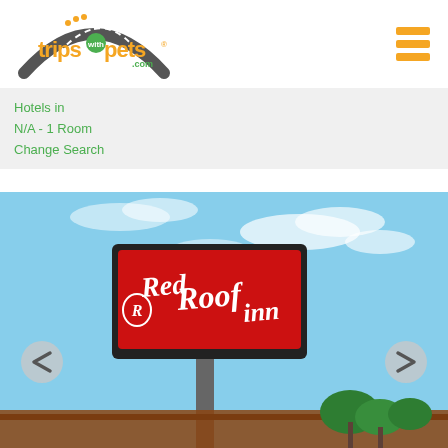[Figure (logo): TripswithPets.com logo - orange text with road/paw graphic]
[Figure (other): Orange hamburger menu icon (three horizontal bars)]
Hotels in
N/A - 1 Room
Change Search
[Figure (photo): Red Roof Inn outdoor sign on a pole against a blue sky with clouds, with trees and building roofline visible at bottom. Navigation arrows on left and right sides.]